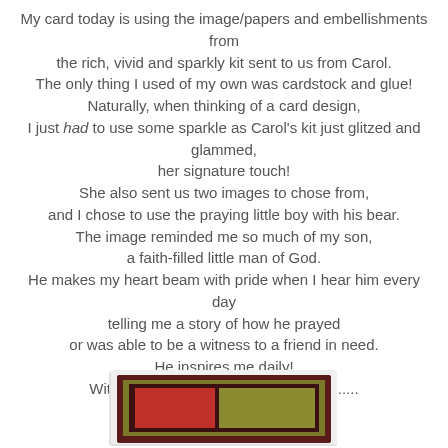My card today is using the image/papers and embellishments from the rich, vivid and sparkly kit sent to us from Carol. The only thing I used of my own was cardstock and glue! Naturally, when thinking of a card design, I just had to use some sparkle as Carol's kit just glitzed and glammed, her signature touch! She also sent us two images to chose from, and I chose to use the praying little boy with his bear. The image reminded me so much of my son, a faith-filled little man of God. He makes my heart beam with pride when I hear him every day telling me a story of how he prayed or was able to be a witness to a friend in need. He inspires me daily! Without further adieu, my CAS card .......
[Figure (photo): A partially visible card craft project showing layered colored cardstock in red, dark brown/maroon border, and olive/green tones, viewed from slightly above, placed on a light background.]